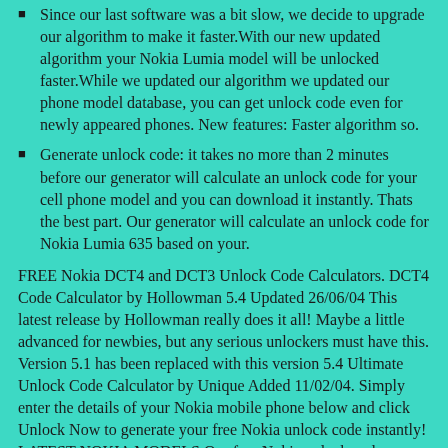Since our last software was a bit slow, we decide to upgrade our algorithm to make it faster.With our new updated algorithm your Nokia Lumia model will be unlocked faster.While we updated our algorithm we updated our phone model database, you can get unlock code even for newly appeared phones. New features: Faster algorithm so.
Generate unlock code: it takes no more than 2 minutes before our generator will calculate an unlock code for your cell phone model and you can download it instantly. Thats the best part. Our generator will calculate an unlock code for Nokia Lumia 635 based on your.
FREE Nokia DCT4 and DCT3 Unlock Code Calculators. DCT4 Code Calculator by Hollowman 5.4 Updated 26/06/04 This latest release by Hollowman really does it all! Maybe a little advanced for newbies, but any serious unlockers must have this. Version 5.1 has been replaced with this version 5.4 Ultimate Unlock Code Calculator by Unique Added 11/02/04. Simply enter the details of your Nokia mobile phone below and click Unlock Now to generate your free Nokia unlock code instantly! LATEST NOKIA MODELS Our free Nokia unlock code service is not available for the latest Nokia HMD devices (e.g. 3310 3G, 8110 4G, Nokia 1, Nokia 5, Nokia 7 etc.).